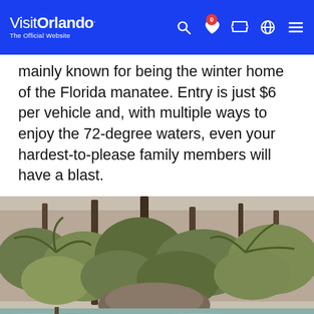Visit Orlando — The Official Website
mainly known for being the winter home of the Florida manatee. Entry is just $6 per vehicle and, with multiple ways to enjoy the 72-degree waters, even your hardest-to-please family members will have a blast.
[Figure (photo): Photograph of a Florida natural spring habitat with cypress trees, palm vegetation, and greenish spring water in the foreground. A chat button is overlaid in the bottom-right corner.]